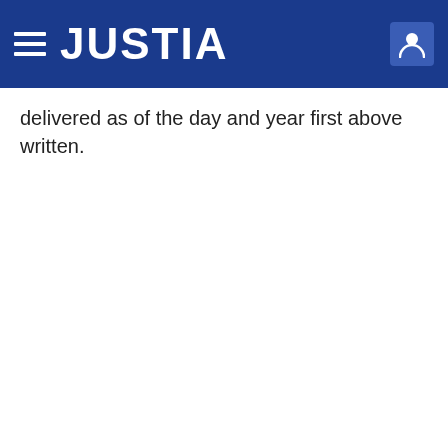JUSTIA
delivered as of the day and year first above written.